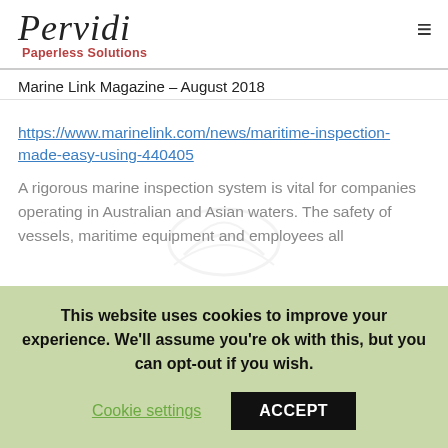Pervidi Paperless Solutions
Marine Link Magazine – August 2018
https://www.marinelink.com/news/maritime-inspection-made-easy-using-440405
A rigorous marine inspection system is vital for companies operating in Australian and Asian waters. The safety of vessels, maritime equipment and employees all
This website uses cookies to improve your experience. We'll assume you're ok with this, but you can opt-out if you wish. Cookie settings ACCEPT